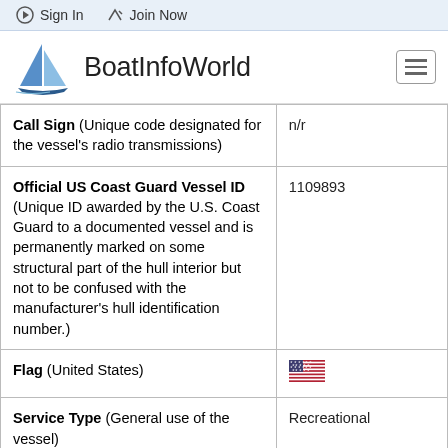Sign In   Join Now
[Figure (logo): BoatInfoWorld logo with sailboat icon and site name]
| Field | Value |
| --- | --- |
| Call Sign (Unique code designated for the vessel's radio transmissions) | n/r |
| Official US Coast Guard Vessel ID (Unique ID awarded by the U.S. Coast Guard to a documented vessel and is permanently marked on some structural part of the hull interior but not to be confused with the manufacturer's hull identification number.) | 1109893 |
| Flag (United States) | [US Flag] |
| Service Type (General use of the vessel) | Recreational |
| Boat's Length | 35 ft |
| Boat's Gross Tons | 11 |
| Boat's Net Tons | 10 |